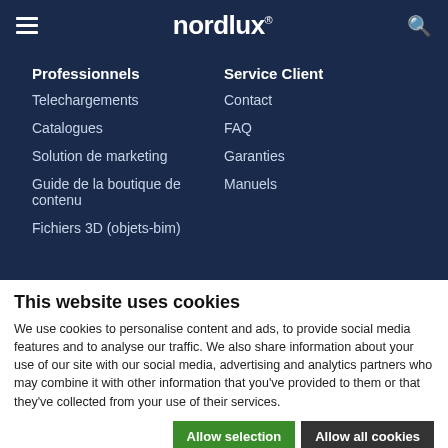nordlux
Professionnels
Service Client
Telechargements
Contact
Catalogues
FAQ
Solution de marketing
Garanties
Guide de la boutique de contenu
Manuels
Fichiers 3D (objets-bim)
This website uses cookies
We use cookies to personalise content and ads, to provide social media features and to analyse our traffic. We also share information about your use of our site with our social media, advertising and analytics partners who may combine it with other information that you've provided to them or that they've collected from your use of their services.
Allow selection | Allow all cookies
Necessary  Preferences  Statistics  Marketing  Show details